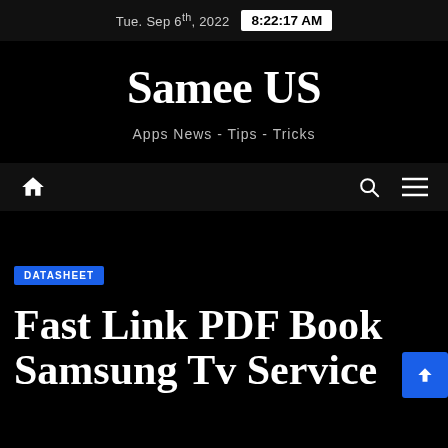Tue. Sep 6th, 2022  8:22:17 AM
Samee US
Apps News - Tips - Tricks
[Figure (other): Navigation bar with home icon, search icon, and hamburger menu icon]
DATASHEET
Fast Link PDF Book Samsung Tv Service Menu Guide